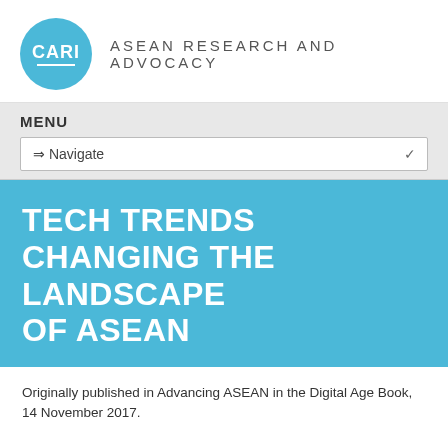CARI ASEAN RESEARCH AND ADVOCACY
MENU
⇒ Navigate
TECH TRENDS CHANGING THE LANDSCAPE OF ASEAN
Originally published in Advancing ASEAN in the Digital Age Book, 14 November 2017.
Tech Trends Changing the Landscape of ASEAN